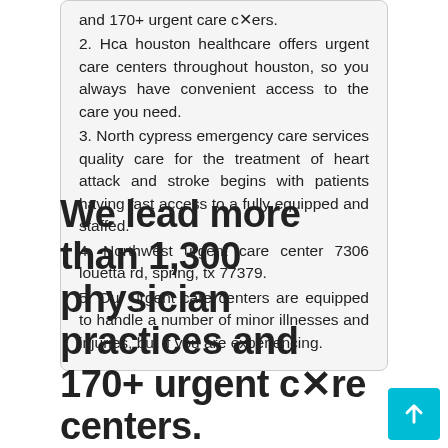and 170+ urgent care centers.
2. Hca houston healthcare offers urgent care centers throughout houston, so you always have convenient access to the care you need.
3. North cypress emergency care services quality care for the treatment of heart attack and stroke begins with patients having fast access to a fully equipped and staffed.
4. Northwest urgent care center 7306 louetta rd, spring, tx 77379.
5. Our urgent care centers are equipped to handle a number of minor illnesses and injuries, but if you are experiencing.
We lead more than 1,300 physician practices and 170+ urgent care centers.